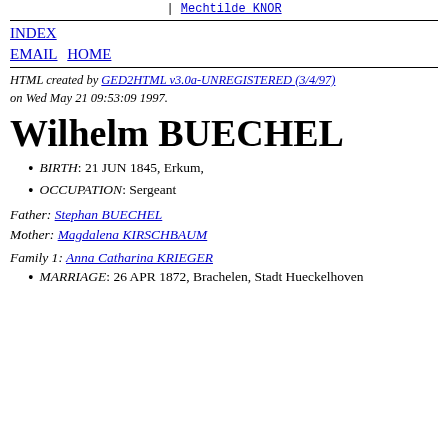| Mechtilde KNOR
INDEX
EMAIL  HOME
HTML created by GED2HTML v3.0a-UNREGISTERED (3/4/97) on Wed May 21 09:53:09 1997.
Wilhelm BUECHEL
BIRTH: 21 JUN 1845, Erkum,
OCCUPATION: Sergeant
Father: Stephan BUECHEL
Mother: Magdalena KIRSCHBAUM
Family 1: Anna Catharina KRIEGER
MARRIAGE: 26 APR 1872, Brachelen, Stadt Hueckelhoven